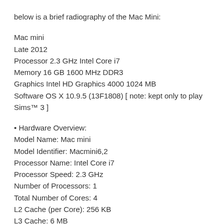below is a brief radiography of the Mac Mini:
Mac mini
Late 2012
Processor 2.3 GHz Intel Core i7
Memory 16 GB 1600 MHz DDR3
Graphics Intel HD Graphics 4000 1024 MB
Software OS X 10.9.5 (13F1808) [ note: kept only to play Sims™ 3 ]
• Hardware Overview:
Model Name: Mac mini
Model Identifier: Macmini6,2
Processor Name: Intel Core i7
Processor Speed: 2.3 GHz
Number of Processors: 1
Total Number of Cores: 4
L2 Cache (per Core): 256 KB
L3 Cache: 6 MB
Memory: 16 GB